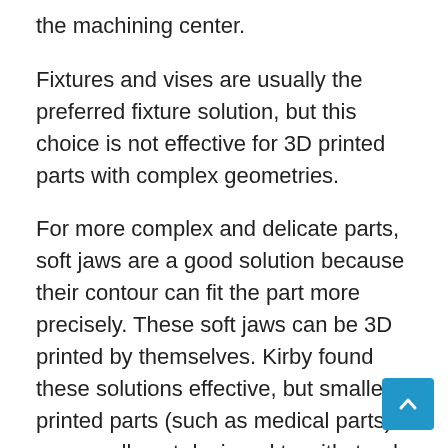the machining center.
Fixtures and vises are usually the preferred fixture solution, but this choice is not effective for 3D printed parts with complex geometries.
For more complex and delicate parts, soft jaws are a good solution because their contour can fit the part more precisely. These soft jaws can be 3D printed by themselves. Kirby found these solutions effective, but smaller printed parts (such as medical parts) are usually not designed to withstand the load tolerances of machining.
These limitations must be kept in mind when considering processing technology and appropriate fixture solutions.